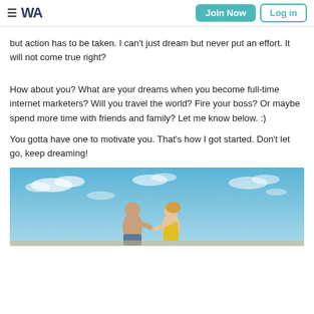WA — Join Now | Log in
but action has to be taken. I can't just dream but never put an effort. It will not come true right?
How about you? What are your dreams when you become full-time internet marketers? Will you travel the world? Fire your boss? Or maybe spend more time with friends and family? Let me know below. :)
You gotta have one to motivate you. That's how I got started. Don't let go, keep dreaming!
[Figure (photo): Two people (a man and a woman) running on a beach under a blue sky with scattered clouds]